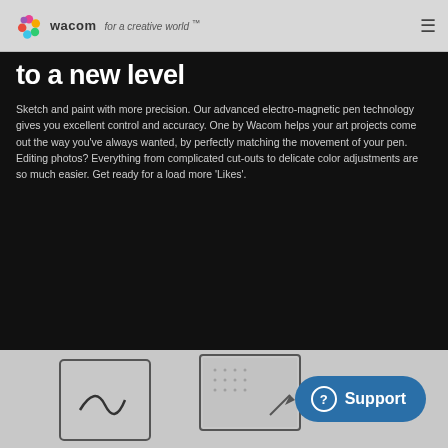wacom · for a creative world™
to a new level
Sketch and paint with more precision. Our advanced electro-magnetic pen technology gives you excellent control and accuracy. One by Wacom helps your art projects come out the way you've always wanted, by perfectly matching the movement of your pen. Editing photos? Everything from complicated cut-outs to delicate color adjustments are so much easier. Get ready for a load more 'Likes'.
[Figure (illustration): Wacom tablet illustration with signature/drawing icon and computer screen icon in gray section at bottom]
[Figure (screenshot): Support button (blue pill-shaped button with question mark icon and 'Support' text)]